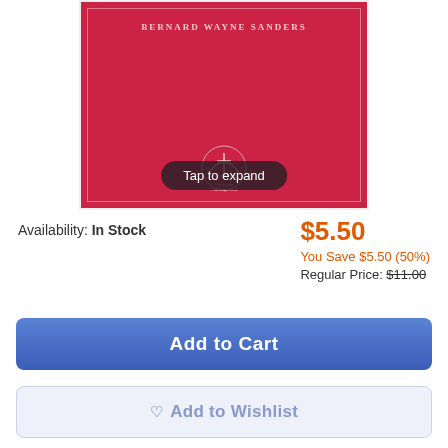[Figure (photo): Book cover with red background, author name 'BERNARD WAYNE SANDERS' at top, Concordia Publishing House logo in center, and 'Tap to expand' overlay button at bottom]
Availability: In Stock
$5.50
You Save $5.50 (50%)
Regular Price: $11.00
Add to Cart
Add to Wishlist